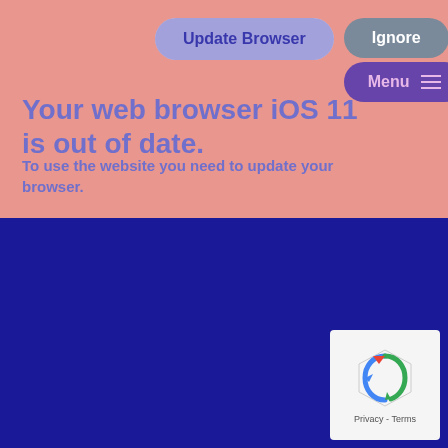[Figure (screenshot): Navigation bar with two overlapping pill-shaped buttons: 'Update Browser' (light/purple overlay) and 'Ignore' (gray), plus a 'Menu ≡' button (purple) below Ignore, on a salmon/pink background.]
Your web browser iOS 11 is out of date.
To use the website you need to update your browser.
[Figure (other): Dark navy blue background section (bottom half of page) with a reCAPTCHA widget in the bottom-right corner showing the reCAPTCHA logo and 'Privacy - Terms' text.]